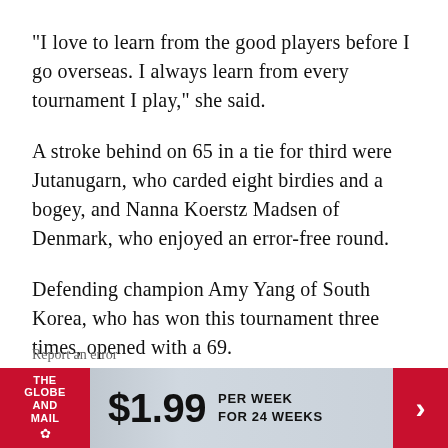“I love to learn from the good players before I go overseas. I always learn from every tournament I play,” she said.
A stroke behind on 65 in a tie for third were Jutanugarn, who carded eight birdies and a bogey, and Nanna Koerstz Madsen of Denmark, who enjoyed an error-free round.
Defending champion Amy Yang of South Korea, who has won this tournament three times, opened with a 69.
Report an error
[Figure (other): The Globe and Mail subscription advertisement banner: $1.99 per week for 24 weeks]